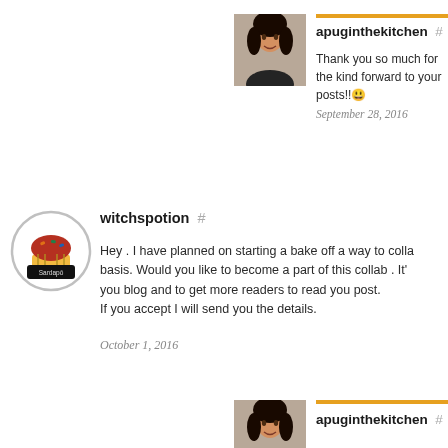[Figure (photo): Profile photo of a woman with dark curly hair]
apuginthekitchen  #
Thank you so much for the kind forward to your posts!! 😀
September 28, 2016
[Figure (logo): Circular logo with cupcake illustration]
witchspotion  #
Hey . I have planned on starting a bake off a way to colla basis. Would you like to become a part of this collab . It' you blog and to get more readers to read you post. If you accept I will send you the details.
October 1, 2016
[Figure (photo): Profile photo of a woman (partially visible at bottom)]
apuginthekitchen  #